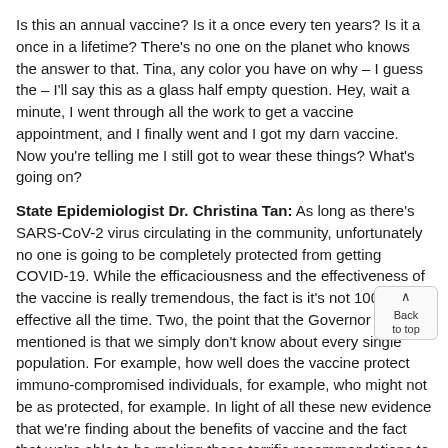Is this an annual vaccine? Is it a once every ten years? Is it a once in a lifetime? There's no one on the planet who knows the answer to that. Tina, any color you have on why – I guess the – I'll say this as a glass half empty question. Hey, wait a minute, I went through all the work to get a vaccine appointment, and I finally went and I got my darn vaccine. Now you're telling me I still got to wear these things? What's going on?
State Epidemiologist Dr. Christina Tan: As long as there's SARS-CoV-2 virus circulating in the community, unfortunately no one is going to be completely protected from getting COVID-19. While the efficaciousness and the effectiveness of the vaccine is really tremendous, the fact is it's not 100% effective all the time. Two, the point that the Governor had mentioned is that we simply don't know about every single population. For example, how well does the vaccine protect immuno-compromised individuals, for example, who might not be as protected, for example. In light of all these new evidence that we're finding about the benefits of vaccine and the fact that we're able to be making these terrific recommendations to allow some – more benefit for those who are fully vaccinated to consider travel, to visit with other individuals who are vaccinated, for example, it's a weighing of the risks and the benefits. That's why we have to still stick in there because, and so what? We have to still go on there. To be the